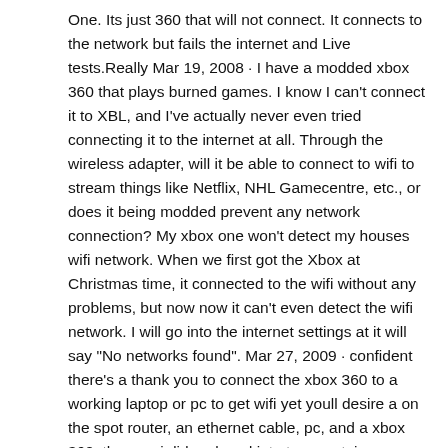One. Its just 360 that will not connect. It connects to the network but fails the internet and Live tests.Really Mar 19, 2008 · I have a modded xbox 360 that plays burned games. I know I can't connect it to XBL, and I've actually never even tried connecting it to the internet at all. Through the wireless adapter, will it be able to connect to wifi to stream things like Netflix, NHL Gamecentre, etc., or does it being modded prevent any network connection? My xbox one won't detect my houses wifi network. When we first got the Xbox at Christmas time, it connected to the wifi without any problems, but now now it can't even detect the wifi network. I will go into the internet settings at it will say "No networks found". Mar 27, 2009 · confident there's a thank you to connect the xbox 360 to a working laptop or pc to get wifi yet youll desire a on the spot router, an ethernet cable, pc, and a xbox 360. the way i did replaced into to ascertain on youtube for movies somewhat describing the approach. reckoning on which working gadget you're utilising i might specify that interior the quest. My Xbox